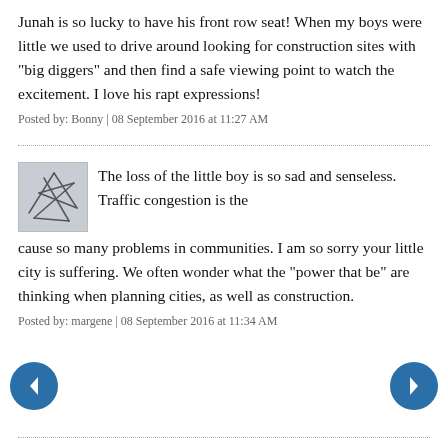Junah is so lucky to have his front row seat! When my boys were little we used to drive around looking for construction sites with "big diggers" and then find a safe viewing point to watch the excitement. I love his rapt expressions!
Posted by: Bonny | 08 September 2016 at 11:27 AM
[Figure (illustration): User avatar thumbnail showing a scribble/abstract sketch in grey tones]
The loss of the little boy is so sad and senseless. Traffic congestion is the cause so many problems in communities. I am so sorry your little city is suffering. We often wonder what the "power that be" are thinking when planning cities, as well as construction.
Posted by: margene | 08 September 2016 at 11:34 AM